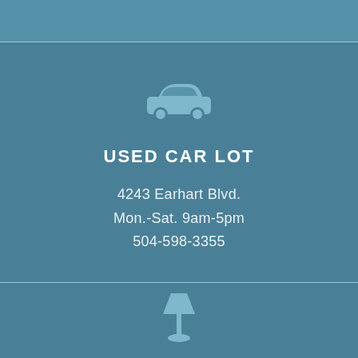[Figure (illustration): Car icon — simple silhouette of a car in a lighter muted blue, centered in the upper section of the page]
USED CAR LOT
4243 Earhart Blvd.
Mon.-Sat. 9am-5pm
504-598-3355
[Figure (illustration): Lamp icon — simple silhouette of a table lamp in a lighter muted blue, centered in the lower strip of the page]